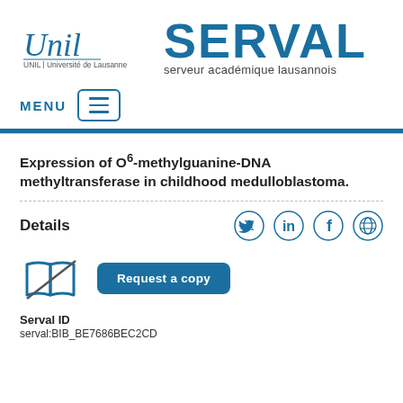[Figure (logo): UNIL Université de Lausanne logo with italic script and SERVAL academic repository branding]
[Figure (screenshot): MENU navigation bar with hamburger icon button]
Expression of O6-methylguanine-DNA methyltransferase in childhood medulloblastoma.
Details
[Figure (illustration): Book with cross/no-access icon and Request a copy button]
Serval ID
serval:BIB_BE7686BEC2CD